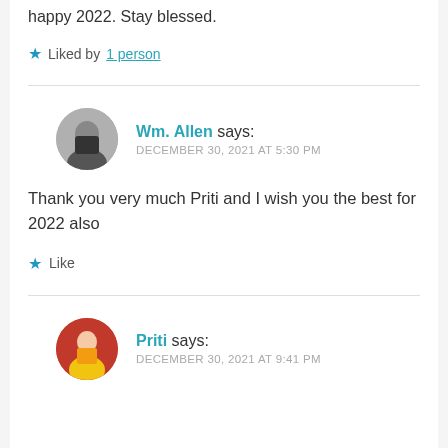happy 2022. Stay blessed.
Liked by 1 person
Wm. Allen says: DECEMBER 30, 2021 AT 5:30 PM
Thank you very much Priti and I wish you the best for 2022 also
Like
Priti says: DECEMBER 30, 2021 AT 9:41 PM